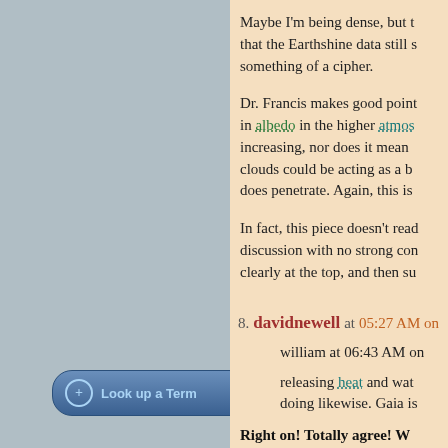Maybe I'm being dense, but that the Earthshine data still something of a cipher.
Dr. Francis makes good points in albedo in the higher atmos increasing, nor does it mean clouds could be acting as a b does penetrate. Again, this is
In fact, this piece doesn't read discussion with no strong con clearly at the top, and then su
8. davidnewell at 05:27 AM on
william at 06:43 AM on
releasing heat and wat doing likewise. Gaia is
Right on!  Totally agree!  W HAVE evolved "intellects"
but, "what we are for" ( as cl
[Figure (other): Look up a Term button at bottom left of navigation panel]